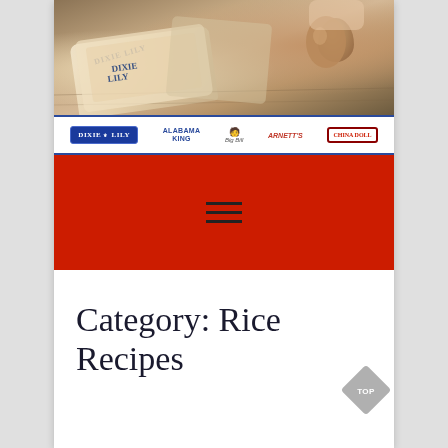[Figure (photo): Hero image showing Dixie Lily brand rice bag and eggs on a wooden surface background]
DIXIE LILY | ALABAMA KING | Big Bill | ARNETT'S | CHINA DOLL
[Figure (other): Red navigation banner with hamburger menu icon (three horizontal lines)]
Category: Rice Recipes